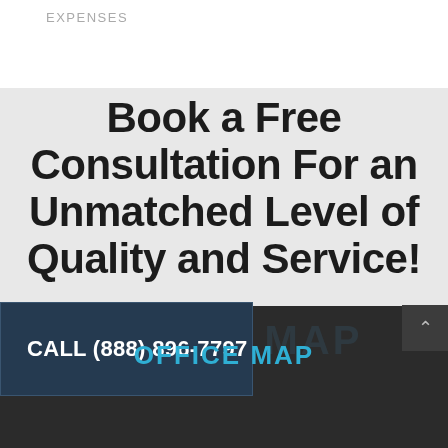EXPENSES
Book a Free Consultation For an Unmatched Level of Quality and Service!
CALL (888) 896-7797
OFFICE MAP